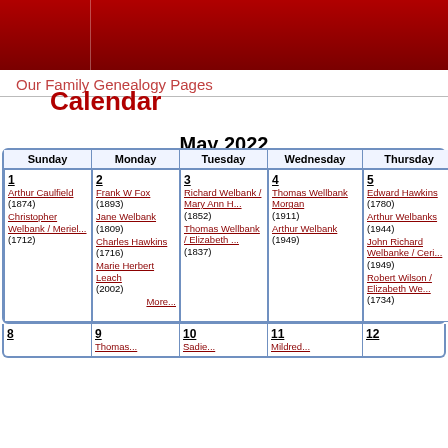Our Family Genealogy Pages
Calendar
May 2022
| Sunday | Monday | Tuesday | Wednesday | Thursday | Friday |
| --- | --- | --- | --- | --- | --- |
| 1 Arthur Caulfield (1874) Christopher Welbank / Meriel... (1712) | 2 Frank W Fox (1893) Jane Welbank (1809) Charles Hawkins (1716) Marie Herbert Leach (2002) More... | 3 Richard Welbank / Mary Ann H... (1852) Thomas Wellbank / Elizabeth ... (1837) | 4 Thomas Wellbank Morgan (1911) Arthur Welbank (1949) | 5 Edward Hawkins (1780) Arthur Welbanks (1944) John Richard Welbanke / Ceri... (1949) Robert Wilson / Elizabeth We... (1734) | 6 Margare Balfour (1766) Violet Welban... (1873) Mary Elizabe Hawkin... (1844) George Welban... Mary Wiles (1705) Mor... |
| 8 | 9 Thomas... | 10 Sadie... | 11 Mildred... | 12 | 13 Util... |